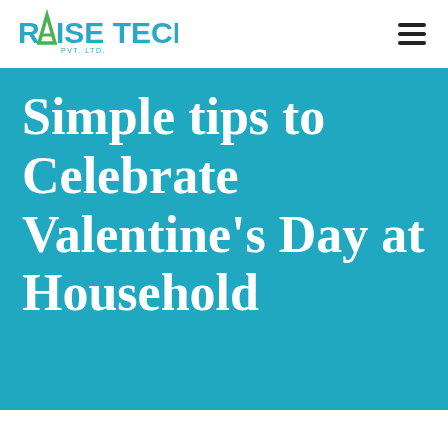[Figure (logo): Raise Tech Pvt. Ltd. logo with teal/cyan colored text and a green arrow graphic replacing the letter A]
Simple tips to Celebrate Valentine's Day at Household